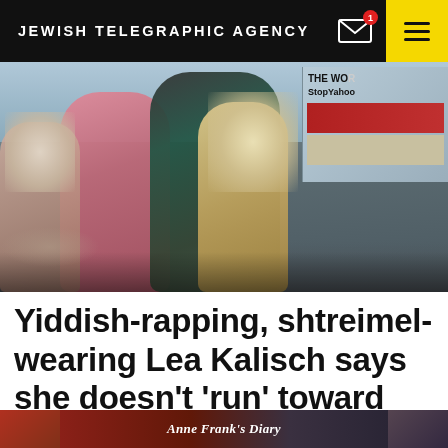JEWISH TELEGRAPHIC AGENCY
[Figure (photo): Dancers performing outdoors in Times Square, crouching in colorful outfits with hair flying. Billboard signage visible in background right.]
Yiddish-rapping, shtreimel-wearing Lea Kalisch says she doesn’t ‘run’ toward controversy
[Figure (photo): Partial view of bottom strip showing book 'Anne Frank's Diary' and a person partially visible on the right.]